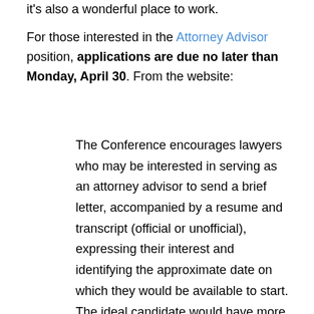it's also a wonderful place to work.
For those interested in the Attorney Advisor position, applications are due no later than Monday, April 30. From the website:
The Conference encourages lawyers who may be interested in serving as an attorney advisor to send a brief letter, accompanied by a resume and transcript (official or unofficial), expressing their interest and identifying the approximate date on which they would be available to start. The ideal candidate would have more than one year experience working as an attorney in a setting requiring them to independently manage a portfolio of projects or possess a demonstrated academic